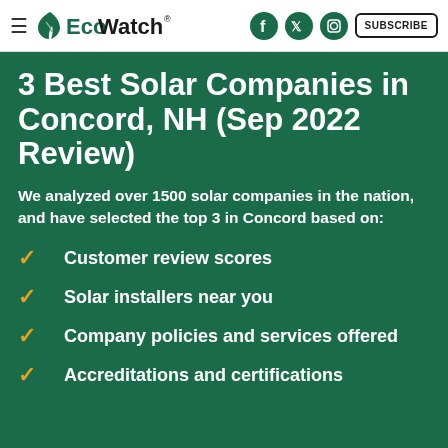EcoWatch — SUBSCRIBE
3 Best Solar Companies in Concord, NH (Sep 2022 Review)
We analyzed over 1500 solar companies in the nation, and have selected the top 3 in Concord based on:
Customer review scores
Solar installers near you
Company policies and services offered
Accreditations and certifications